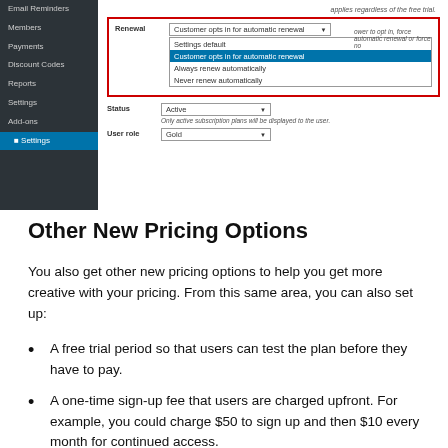[Figure (screenshot): Screenshot of a WordPress membership plugin admin interface showing a sidebar navigation with items like Email Reminders, Members, Payments, Discount Codes, Reports, Settings, Add-ons, and Settings (highlighted). The main content area shows fields for Renewal (with a dropdown expanded showing options: Settings default, Customer opts in for automatic renewal (selected/highlighted in blue), Always renew automatically, Never renew automatically) and Status (Active) and User role (Gold). A red border highlights the Renewal dropdown area.]
Other New Pricing Options
You also get other new pricing options to help you get more creative with your pricing. From this same area, you can also set up:
A free trial period so that users can test the plan before they have to pay.
A one-time sign-up fee that users are charged upfront. For example, you could charge $50 to sign up and then $10 every month for continued access.